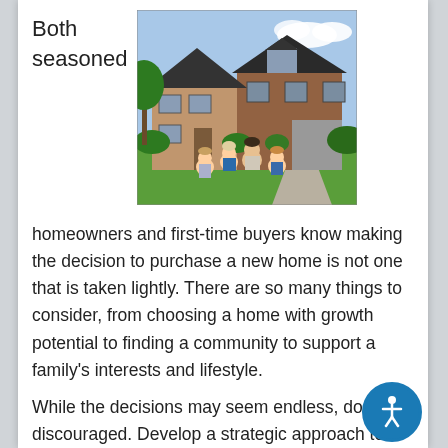Both seasoned
[Figure (photo): A family of four (two adults and two young children) sitting on green grass in front of a large brick and stone house with dark roof and lush landscaping.]
homeowners and first-time buyers know making the decision to purchase a new home is not one that is taken lightly. There are so many things to consider, from choosing a home with growth potential to finding a community to support a family's interests and lifestyle.
While the decisions may seem endless, don't be discouraged. Develop a strategic approach to buying a home with our definitive guide to